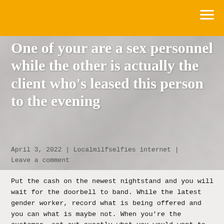One of your are a sex personnel while the other is actually the client who's leased this person to the evening
April 3, 2022 | Localmilfselfies internet | Leave a comment
Put the cash on the newest nightstand and you will wait for the doorbell to band. While the latest gender worker, record what is being offered and you can what is maybe not. When you're the customer, set-out exactly what you would want to occurs. Once you have complete the latest settling, you can get sex that's entirely transactional.